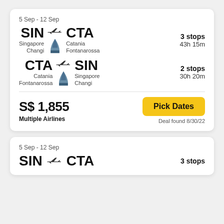5 Sep - 12 Sep
SIN → CTA | Singapore Changi → Catania Fontanarossa | 3 stops | 43h 15m
CTA → SIN | Catania Fontanarossa → Singapore Changi | 2 stops | 30h 20m
S$ 1,855
Multiple Airlines
Pick Dates
Deal found 8/30/22
5 Sep - 12 Sep
SIN → CTA | 3 stops